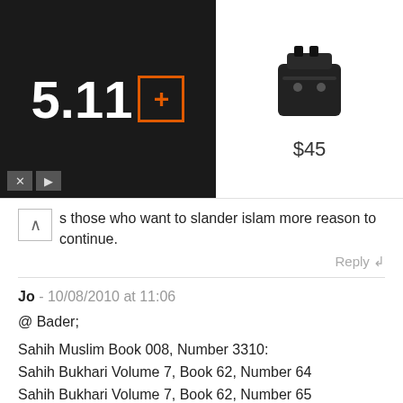[Figure (screenshot): Advertisement banner: left side has 5.11 logo with orange plus-in-box icon on black background with X and play controls; right side shows a black tactical pouch product image priced at $45]
s those who want to slander islam more reason to continue.
Reply ↲
Jo - 10/08/2010 at 11:06
@ Bader;
Sahih Muslim Book 008, Number 3310:
Sahih Bukhari Volume 7, Book 62, Number 64
Sahih Bukhari Volume 7, Book 62, Number 65
Sahih Bukhari Volume 7, Book 62, Number 88
Sahih Bukhari 5.236.
Sahih Bukhari 5.234
Sunan Abu-Dawud Book 41, Number 4915, also Number 4916 and Number 4917